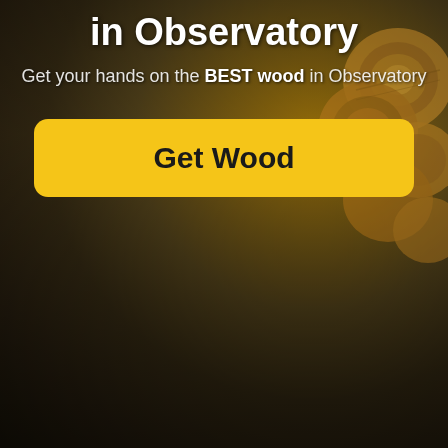[Figure (photo): Background photo of a person carrying a large bundle of cut logs/firewood, set on a dark outdoor path. The image has warm golden and brown tones with a dark overlay.]
in Observatory
Get your hands on the BEST wood in Observatory
Get Wood